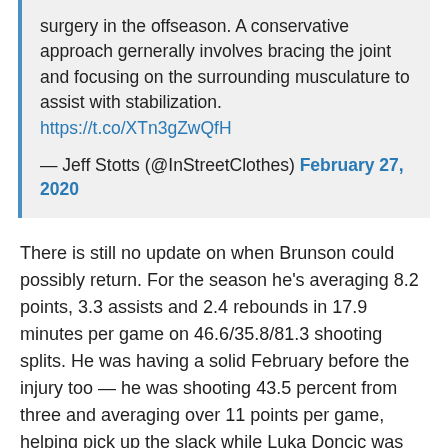surgery in the offseason. A conservative approach gernerally involves bracing the joint and focusing on the surrounding musculature to assist with stabilization. https://t.co/XTn3gZwQfH
— Jeff Stotts (@InStreetClothes) February 27, 2020
There is still no update on when Brunson could possibly return. For the season he's averaging 8.2 points, 3.3 assists and 2.4 rebounds in 17.9 minutes per game on 46.6/35.8/81.3 shooting splits. He was having a solid February before the injury too — he was shooting 43.5 percent from three and averaging over 11 points per game, helping pick up the slack while Luka Doncic was out for most of the month with an ankle sprain.